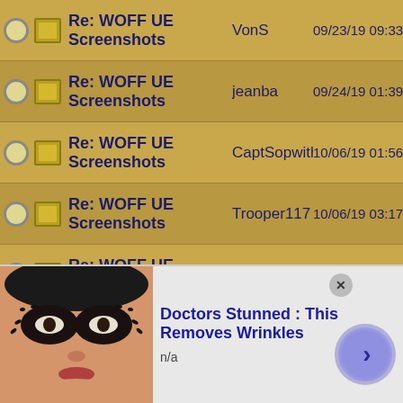Re: WOFF UE Screenshots | VonS | 09/23/19 09:33 P
Re: WOFF UE Screenshots | jeanba | 09/24/19 01:39 P
Re: WOFF UE Screenshots | CaptSopwith | 10/06/19 01:56 P
Re: WOFF UE Screenshots | Trooper117 | 10/06/19 03:17 P
Re: WOFF UE Screenshots | Crofty | 10/07/19 11:19 A
Re: WOFF UE Screenshots | Trooper117 | 10/07/19 11:22 A
Re: WOFF UE Screenshots | Trooper117 | 10/09/19 07:13 P
Re: WOFF UE Screenshots | Crofty | 10/10/19 11:41 A
Re: WOFF UE Screenshots | RAF_Louvert | 10/10/19 11:48 A
Re: WOFF UE Screenshots (indented) | Crofty | 10/10/19 11:59 A
Re: WOFF UE Screenshots | RAF_Louvert | 10/10/19 12:15 P
Re: WOFF UE Screenshots | Blade_Meister | 10/12/19 03:44 P
[Figure (screenshot): Ad banner: Doctors Stunned : This Removes Wrinkles, n/a, with woman photo, close button, and arrow button]